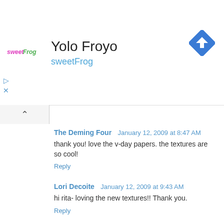[Figure (logo): sweetFrog logo with colorful text]
Yolo Froyo
sweetFrog
[Figure (other): Blue diamond navigation/directions icon]
The Deming Four  January 12, 2009 at 8:47 AM
thank you! love the v-day papers. the textures are so cool!
Reply
Lori Decoite  January 12, 2009 at 9:43 AM
hi rita- loving the new textures!! Thank you.
Reply
Becky  January 12, 2009 at 9:45 AM
These are beautiful; thank you so much.
Reply